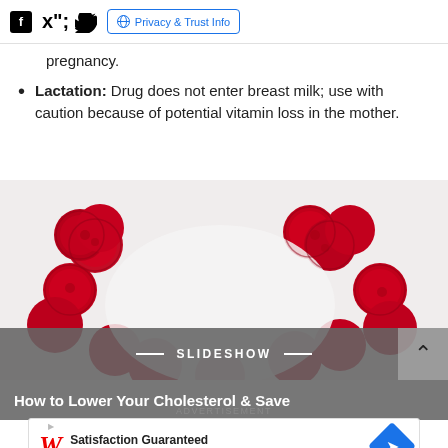Social icons (Facebook, Twitter) | Privacy & Trust Info
pregnancy.
Lactation: Drug does not enter breast milk; use with caution because of potential vitamin loss in the mother.
[Figure (photo): Raspberries arranged in a heart shape on a white background, partially visible slideshow panel with label 'SLIDESHOW' and title 'How to Lower Your Cholesterol & Save']
ADVERTISEMENT
[Figure (other): Walgreens Photo advertisement banner: Satisfaction Guaranteed, Walgreens Photo, with W logo and blue diamond icon]